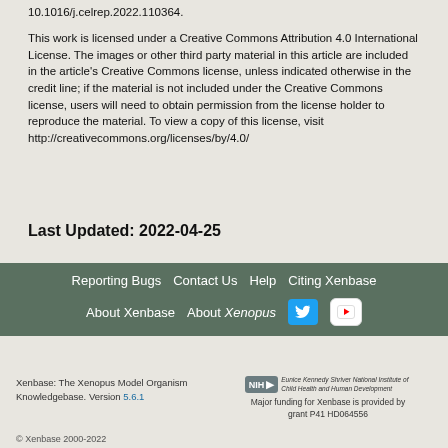10.1016/j.celrep.2022.110364.
This work is licensed under a Creative Commons Attribution 4.0 International License. The images or other third party material in this article are included in the article's Creative Commons license, unless indicated otherwise in the credit line; if the material is not included under the Creative Commons license, users will need to obtain permission from the license holder to reproduce the material. To view a copy of this license, visit http://creativecommons.org/licenses/by/4.0/
Last Updated: 2022-04-25
Reporting Bugs | Contact Us | Help | Citing Xenbase | About Xenbase | About Xenopus
Xenbase: The Xenopus Model Organism Knowledgebase. Version 5.6.1
© Xenbase 2000-2022
Major funding for Xenbase is provided by grant P41 HD064556